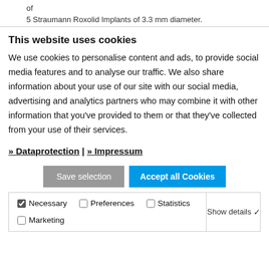of
5 Straumann Roxolid Implants of 3.3 mm diameter.
This website uses cookies
We use cookies to personalise content and ads, to provide social media features and to analyse our traffic. We also share information about your use of our site with our social media, advertising and analytics partners who may combine it with other information that you've provided to them or that they've collected from your use of their services.
» Dataprotection | » Impressum
Save selection  Accept all Cookies
Necessary  Preferences  Statistics  Marketing  Show details